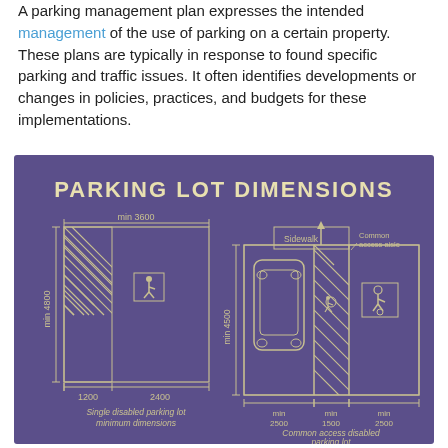A parking management plan expresses the intended management of the use of parking on a certain property. These plans are typically in response to found specific parking and traffic issues. It often identifies developments or changes in policies, practices, and budgets for these implementations.
[Figure (infographic): Parking Lot Dimensions infographic on purple background showing: Single disabled parking lot minimum dimensions (min 3600 wide, min 4800 tall, with 1200 and 2400 sub-dimensions) and Common access disabled parking lot (min 4500 height, min 2500, min 1500, min 2500 widths) with sidewalk and common access aisle labels, hatched accessible zones, wheelchair symbols and car diagram.]